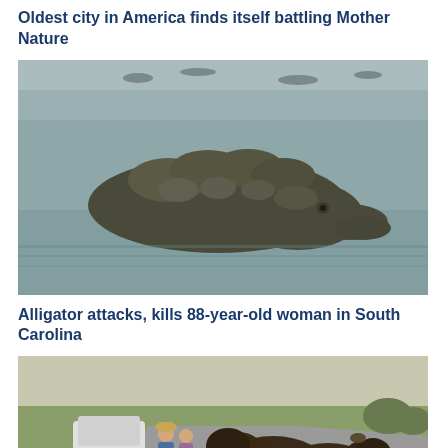Oldest city in America finds itself battling Mother Nature
[Figure (photo): Large alligator partially submerged in water, showing its textured back and head above the surface.]
Alligator attacks, kills 88-year-old woman in South Carolina
[Figure (photo): Two tourists standing near a car on a road watching two bison blocking the road in a grassy landscape.]